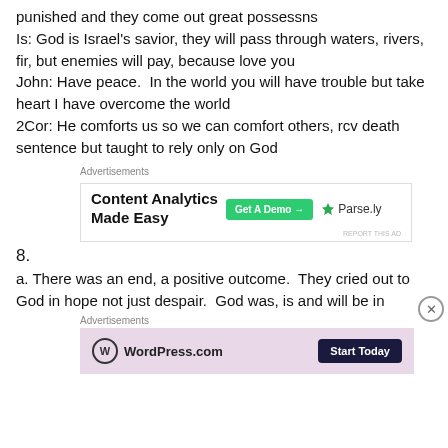punished and they come out great possessns
Is: God is Israel's savior, they will pass through waters, rivers, fir, but enemies will pay, because love you
John: Have peace.  In the world you will have trouble but take heart I have overcome the world
2Cor: He comforts us so we can comfort others, rcv death sentence but taught to rely only on God
[Figure (other): Advertisement banner: Content Analytics Made Easy, Get A Demo button, Parse.ly logo]
8.
a. There was an end, a positive outcome.  They cried out to God in hope not just despair.  God was, is and will be in
[Figure (other): Advertisement banner: WordPress.com, Start Today button]